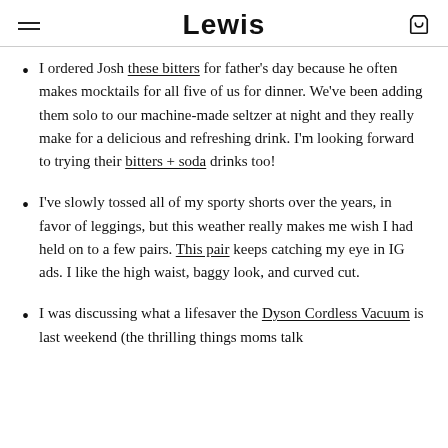Lewis
I ordered Josh these bitters for father's day because he often makes mocktails for all five of us for dinner. We've been adding them solo to our machine-made seltzer at night and they really make for a delicious and refreshing drink. I'm looking forward to trying their bitters + soda drinks too!
I've slowly tossed all of my sporty shorts over the years, in favor of leggings, but this weather really makes me wish I had held on to a few pairs. This pair keeps catching my eye in IG ads. I like the high waist, baggy look, and curved cut.
I was discussing what a lifesaver the Dyson Cordless Vacuum is last weekend (the thrilling things moms talk